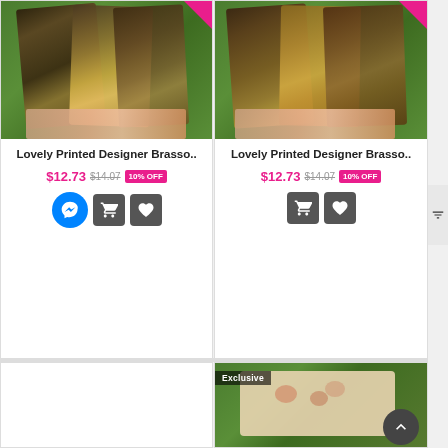[Figure (photo): Product photo of a dark/olive printed designer Brasso fabric with diamond pattern and beaded detail, on green grass background]
Lovely Printed Designer Brasso..
$12.73  $14.07  10% OFF
[Figure (photo): Product photo of an olive/brown printed designer Brasso fabric with diamond pattern and beaded detail, on green grass background]
Lovely Printed Designer Brasso..
$12.73  $14.07  10% OFF
[Figure (photo): Partial product photo of a green floral embroidered fabric with 'Exclusive' badge, partially obscured by WhatsApp icon]
[Figure (photo): Partial product photo of a beige/cream floral fabric with 'Exclusive' badge]